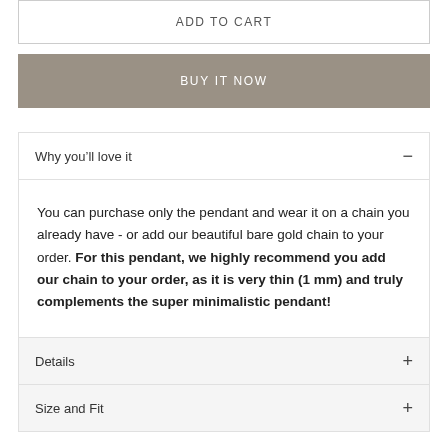ADD TO CART
BUY IT NOW
Why you'll love it
You can purchase only the pendant and wear it on a chain you already have - or add our beautiful bare gold chain to your order. For this pendant, we highly recommend you add our chain to your order, as it is very thin (1 mm) and truly complements the super minimalistic pendant!
Details
Size and Fit